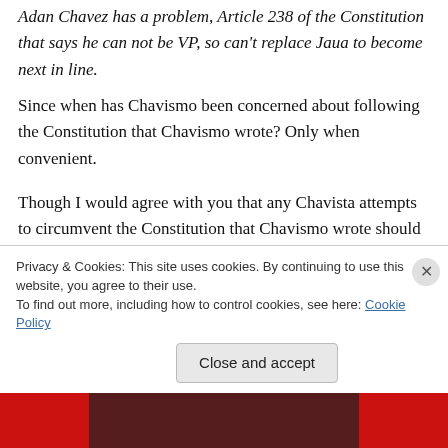Adan Chavez has a problem, Article 238 of the Constitution that says he can not be VP, so can't replace Jaua to become next in line.
Since when has Chavismo been concerned about following the Constitution that Chavismo wrote? Only when convenient.
Though I would agree with you that any Chavista attempts to circumvent the Constitution that Chavismo wrote should be loudly denounced, and often.
Privacy & Cookies: This site uses cookies. By continuing to use this website, you agree to their use. To find out more, including how to control cookies, see here: Cookie Policy
Close and accept